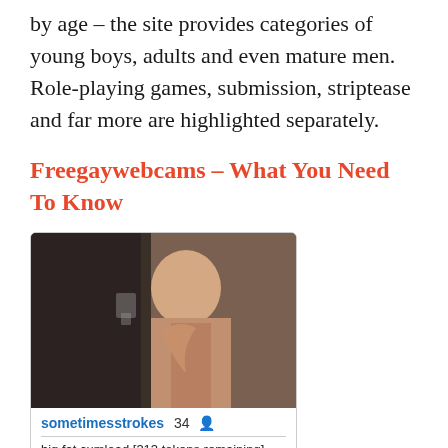by age – the site provides categories of young boys, adults and even mature men. Role-playing games, submission, striptease and far more are highlighted separately.
Freegaywebcams – What You Need To Know
[Figure (photo): Webcam screenshot thumbnail of user 'sometimesstrokes']
sometimesstrokes   34
big fat cumload [313 tokens remaining]
2.4 hrs, 2440 viewers
[Figure (photo): Second webcam screenshot thumbnail partially visible at bottom]